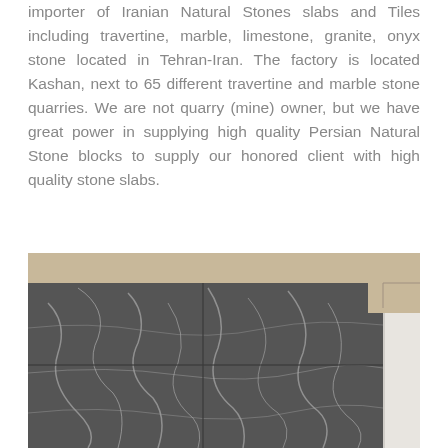importer of Iranian Natural Stones slabs and Tiles including travertine, marble, limestone, granite, onyx stone located in Tehran-Iran. The factory is located Kashan, next to 65 different travertine and marble stone quarries. We are not quarry (mine) owner, but we have great power in supplying high quality Persian Natural Stone blocks to supply our honored client with high quality stone slabs.
[Figure (photo): A dark grey marble wall with white veining patterns, showing a corner or edge of the marble installation against a light beige ceiling or wall.]